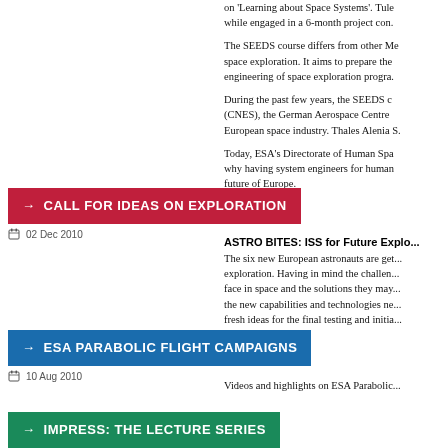on 'Learning about Space Systems'. Tudents... while engaged in a 6-month project con...
The SEEDS course differs from other M... space exploration. It aims to prepare the... engineering of space exploration progra...
During the past few years, the SEEDS c... (CNES), the German Aerospace Centre... European space industry. Thales Alenia S...
Today, ESA's Directorate of Human Spa... why having system engineers for human... future of Europe.
→ CALL FOR IDEAS ON EXPLORATION
02 Dec 2010
ASTRO BITES: ISS for Future Explo... The six new European astronauts are get... exploration. Having in mind the challen... face in space and the solutions they may... the new capabilities and technologies ne... fresh ideas for the final testing and initia...
→ ESA PARABOLIC FLIGHT CAMPAIGNS
10 Aug 2010
Videos and highlights on ESA Parabolic...
→ IMPRESS: THE LECTURE SERIES
24 Jun 2010